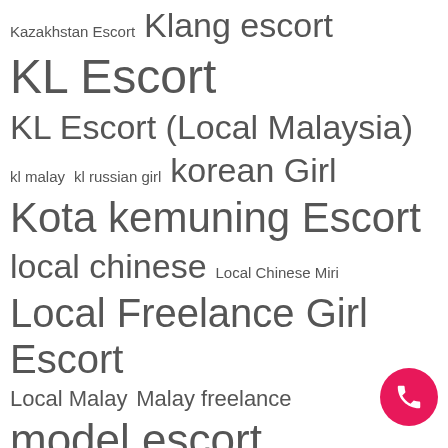Kazakhstan Escort  Klang escort
KL Escort
KL Escort (Local Malaysia)
kl malay  kl russian girl  korean Girl
Kota kemuning Escort
local chinese  Local Chinese Miri
Local Freelance Girl Escort
Local Malay  Malay freelance
model escort
Outcall Escort  outcall malay
outcall service
outcall …